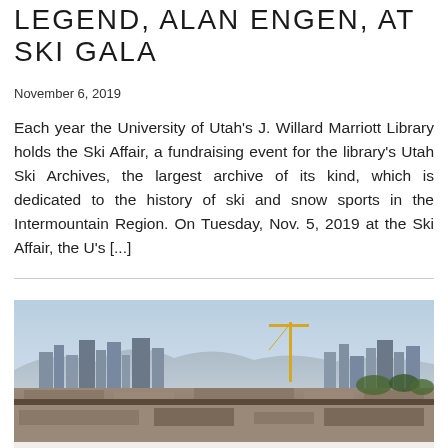LEGEND, ALAN ENGEN, AT SKI GALA
November 6, 2019
Each year the University of Utah's J. Willard Marriott Library holds the Ski Affair, a fundraising event for the library's Utah Ski Archives, the largest archive of its kind, which is dedicated to the history of ski and snow sports in the Intermountain Region. On Tuesday, Nov. 5, 2019 at the Ski Affair, the U's [...]
[Figure (photo): Aerial/rooftop view of Salt Lake City skyline with mountains in the background, showing the Marriott Library roof in the foreground and city buildings and a construction crane visible.]